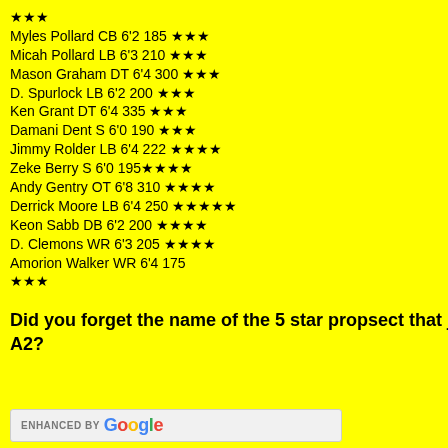★★★
Myles Pollard CB 6'2 185 ★★★
Micah Pollard LB 6'3 210 ★★★
Mason Graham DT 6'4 300 ★★★
D. Spurlock LB 6'2 200 ★★★
Ken Grant DT 6'4 335 ★★★
Damani Dent S 6'0 190 ★★★
Jimmy Rolder LB 6'4 222 ★★★★
Zeke Berry S 6'0 195★★★★
Andy Gentry OT 6'8 310 ★★★★
Derrick Moore LB 6'4 250 ★★★★★
Keon Sabb DB 6'2 200 ★★★★
D. Clemons WR 6'3 205 ★★★★
Amorion Walker WR 6'4 175 ★★★
Did you forget the name of the 5 star propsect that just visited A2?
The Michigan at...
Anthony LaLota — the reason he lef... more of a traditional... aggressive. I can ... me well. I'm gue... making the trip to...
U of M Flint's firs...
UMass moves up... losing to Michiga...
Timmy Jernigan — to hold off a decisi... some visits. One...